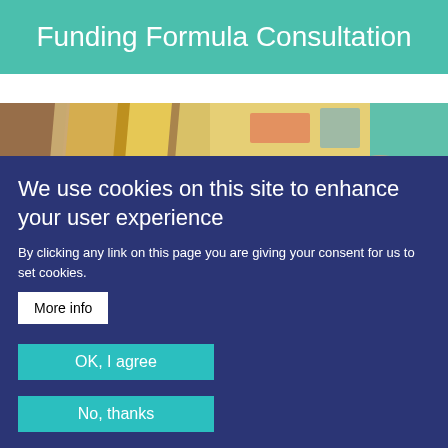Funding Formula Consultation
[Figure (photo): Close-up photo of colourful pencils and papers/books, suggesting an educational setting, partially visible]
We use cookies on this site to enhance your user experience
By clicking any link on this page you are giving your consent for us to set cookies.
More info
OK, I agree
No, thanks